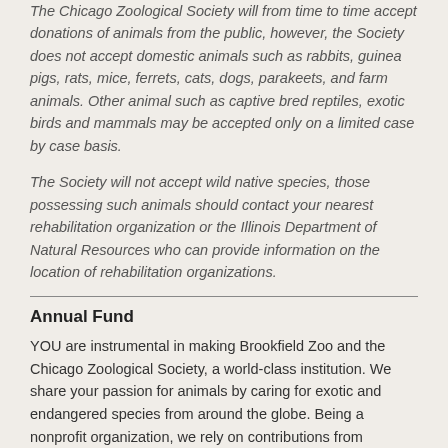The Chicago Zoological Society will from time to time accept donations of animals from the public, however, the Society does not accept domestic animals such as rabbits, guinea pigs, rats, mice, ferrets, cats, dogs, parakeets, and farm animals. Other animal such as captive bred reptiles, exotic birds and mammals may be accepted only on a limited case by case basis.
The Society will not accept wild native species, those possessing such animals should contact your nearest rehabilitation organization or the Illinois Department of Natural Resources who can provide information on the location of rehabilitation organizations.
Annual Fund
YOU are instrumental in making Brookfield Zoo and the Chicago Zoological Society, a world-class institution. We share your passion for animals by caring for exotic and endangered species from around the globe. Being a nonprofit organization, we rely on contributions from dedicated partners like you.